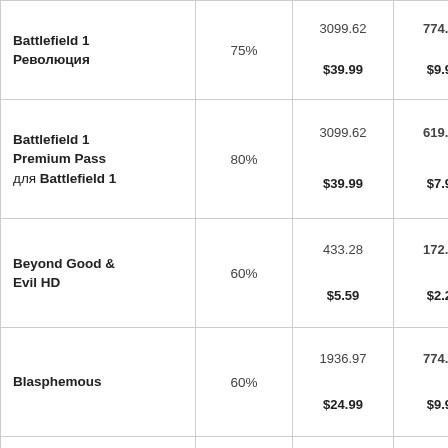| Product | Discount | Points | Sale Price |
| --- | --- | --- | --- |
| Battlefield 1 Революция | 75% | 3099.62
$39.99 | 774.32
$9.99 |
| Battlefield 1 Premium Pass для Battlefield 1 | 80% | 3099.62
$39.99 | 619.30
$7.99 |
| Beyond Good & Evil HD | 60% | 433.28
$5.59 | 172.85
$2.23 |
| Blasphemous | 60% | 1936.97
$24.99 | 774.32
$9.99 |
| Blood Bowl 2 | 80% | 1549.42
$19.99 | 309.26
$3.99 |
| Blood Bowl 2 — |  | 2324.52 | 464.28 |